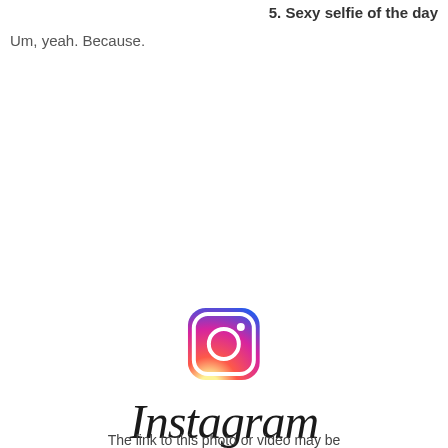5. Sexy selfie of the day
Um, yeah. Because.
[Figure (logo): Instagram logo icon (camera with gradient from yellow/orange to pink/purple) and Instagram wordmark in script font]
The link to this photo or video may be